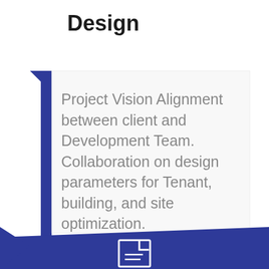Design
[Figure (infographic): Blue vertical left bar with top triangle accent, white card area, bottom blue chevron band with document icon. Design process step infographic.]
Project Vision Alignment between client and Development Team. Collaboration on design parameters for Tenant, building, and site optimization.